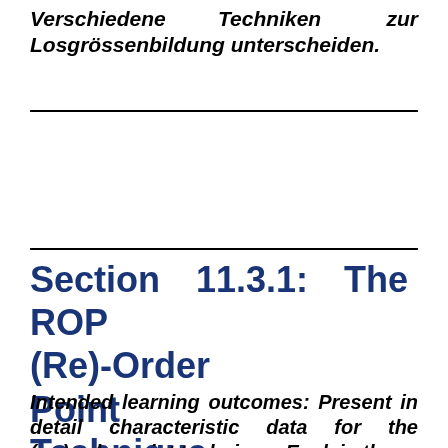Verschiedene Techniken zur Losgrössenbildung unterscheiden.
Section 11.3.1: The ROP (Re)-Order Point Technique
Intended learning outcomes: Present in detail characteristic data for the (re-)order point technique. Explain the